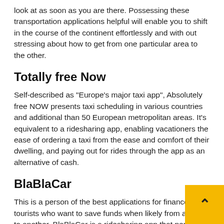look at as soon as you are there. Possessing these transportation applications helpful will enable you to shift in the course of the continent effortlessly and with out stressing about how to get from one particular area to the other.
Totally free Now
Self-described as "Europe's major taxi app", Absolutely free NOW presents taxi scheduling in various countries and additional than 50 European metropolitan areas. It's equivalent to a ridesharing app, enabling vacationers the ease of ordering a taxi from the ease and comfort of their dwelling, and paying out for rides through the app as an alternative of cash.
BlaBlaCar
This is a person of the best applications for finances tourists who want to save funds when likely from a spot to another. BlaBlaCar is a ridesharing app that permits